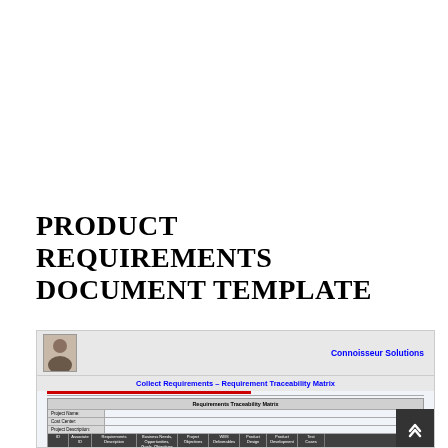PRODUCT REQUIREMENTS DOCUMENT TEMPLATE
[Figure (screenshot): Screenshot of a Requirements Traceability Matrix document template from Connoisseur Solutions, showing a table with columns for ID, Associate ID, Requirements Description, Business Needs/Opportunities/Goals/Objectives, Project Objectives, WBS Deliverables, Product Design, Product Development, and Test Cases. The table has a header row and rows for IDs 001 with sub-items 1.0, 1.1, 1.2, 1.2.1.]